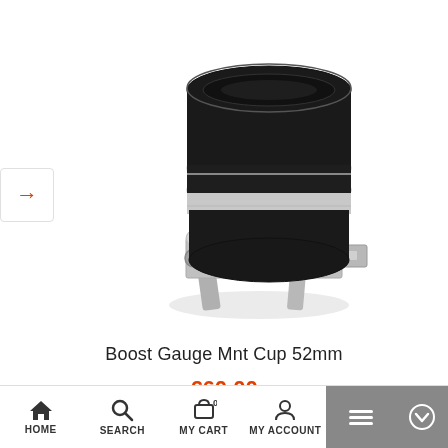[Figure (photo): Black cylindrical boost gauge mount cup 52mm with metallic chrome clamp bracket, shown on white background]
Boost Gauge Mnt Cup 52mm
€60.00
HOME   SEARCH   MY CART 0   MY ACCOUNT